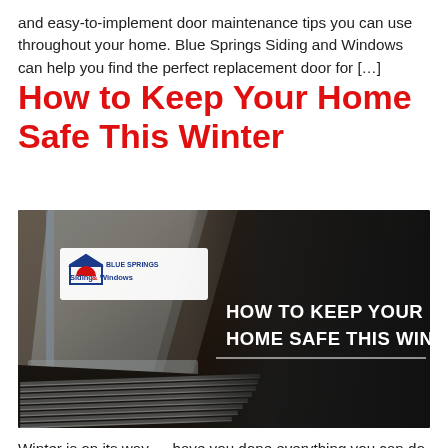and easy-to-implement door maintenance tips you can use throughout your home. Blue Springs Siding and Windows can help you find the perfect replacement door for […]
How to Keep Your Home Safe This Winter
[Figure (photo): A floor heating vent/register on a dark wood floor with a glass door reflection, overlaid with a dark semi-transparent panel showing the Blue Springs Siding and Windows logo and the text 'HOW TO KEEP YOUR HOME SAFE THIS WINTER']
Winter is on its way — have you done everything you can do to protect your home? With the hustle and bustle of the